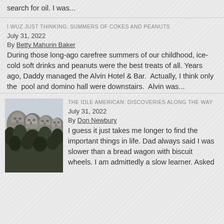search for oil. I was...
I WUZ JUST THINKING: SUMMERS OF COKES AND PEANUTS
July 31, 2022
By Betty Mahurin Baker
During those long-ago carefree summers of our childhood, ice-cold soft drinks and peanuts were the best treats of all. Years ago, Daddy managed the Alvin Hotel & Bar.  Actually, I think only the  pool and domino hall were downstairs.  Alvin was...
[Figure (photo): Black and white photo of Mount Rushmore showing carved presidential faces with trees below]
THE IDLE AMERICAN: DISCOVERIES ALONG THE WAY
July 31, 2022
By Don Newbury
I guess it just takes me longer to find the important things in life. Dad always said I was slower than a bread wagon with biscuit wheels. I am admittedly a slow learner. Asked